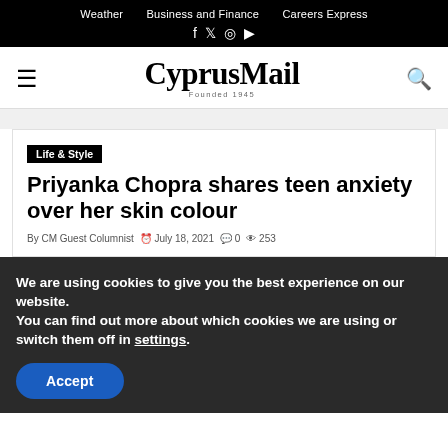Weather  Business and Finance  Careers Express  f  ✕  ◎  ▶
CyprusMail — Founded 1945
Life & Style
Priyanka Chopra shares teen anxiety over her skin colour
By CM Guest Columnist  ⏱ July 18, 2021  💬 0  👁 253
We are using cookies to give you the best experience on our website.
You can find out more about which cookies we are using or switch them off in settings.
Accept